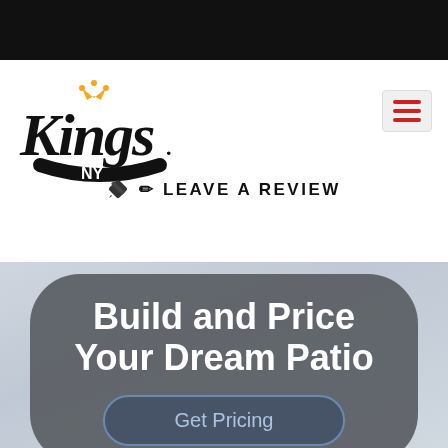[Figure (logo): Kings NY logo in script/cursive font with a gold crown above the K and NY written beneath in a ribbon style]
[Figure (other): Hamburger menu icon with three red horizontal bars on a light gray background]
✏ LEAVE A REVIEW
Build Your Dream Patio
[Figure (photo): Faded background photo of a patio/outdoor area in light gray tones]
Build and Price Your Dream Patio
Get Pricing